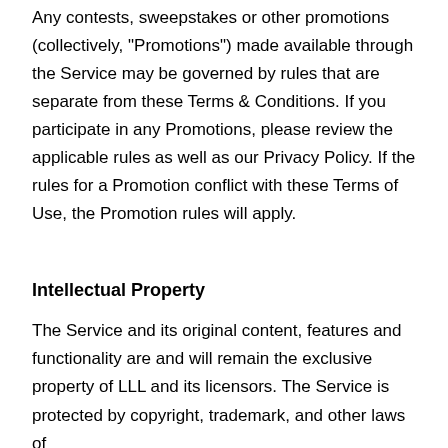Any contests, sweepstakes or other promotions (collectively, "Promotions") made available through the Service may be governed by rules that are separate from these Terms & Conditions. If you participate in any Promotions, please review the applicable rules as well as our Privacy Policy. If the rules for a Promotion conflict with these Terms of Use, the Promotion rules will apply.
Intellectual Property
The Service and its original content, features and functionality are and will remain the exclusive property of LLL and its licensors. The Service is protected by copyright, trademark, and other laws of